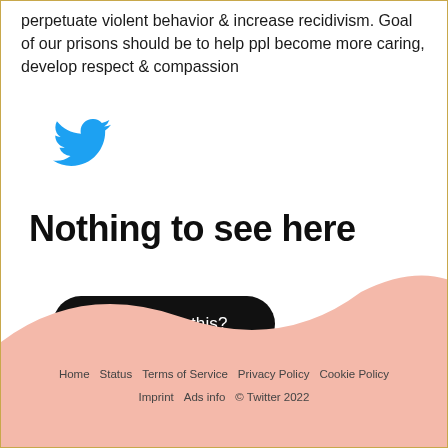perpetuate violent behavior & increase recidivism. Goal of our prisons should be to help ppl become more caring, develop respect & compassion
[Figure (logo): Twitter bird logo in blue]
Nothing to see here
Looking for this?
Home   Status   Terms of Service   Privacy Policy   Cookie Policy   Imprint   Ads info   © Twitter 2022